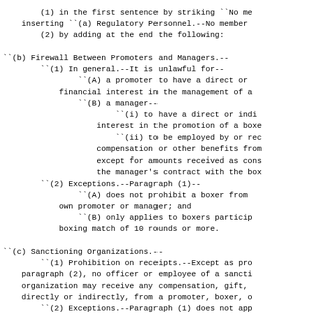(1) in the first sentence by striking ``No me
    inserting ``(a) Regulatory Personnel.--No member
        (2) by adding at the end the following:

``(b) Firewall Between Promoters and Managers.--
        ``(1) In general.--It is unlawful for--
                ``(A) a promoter to have a direct or
            financial interest in the management of a
                ``(B) a manager--
                        ``(i) to have a direct or indi
                    interest in the promotion of a box
                        ``(ii) to be employed by or re
                    compensation or other benefits fro
                    except for amounts received as con
                    the manager's contract with the bo
        ``(2) Exceptions.--Paragraph (1)--
                ``(A) does not prohibit a boxer from
            own promoter or manager; and
                ``(B) only applies to boxers partici
            boxing match of 10 rounds or more.

``(c) Sanctioning Organizations.--
        ``(1) Prohibition on receipts.--Except as pr
    paragraph (2), no officer or employee of a sancti
    organization may receive any compensation, gift,
    directly or indirectly, from a promoter, boxer, o
        ``(2) Exceptions.--Paragraph (1) does not app
                ``(A) the receipt of payment by a pro
            or manager of a sanctioning organization